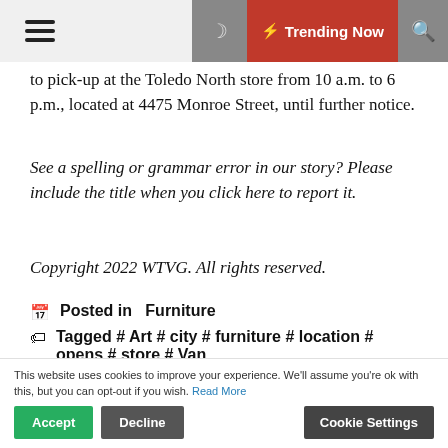Trending Now
to pick-up at the Toledo North store from 10 a.m. to 6 p.m., located at 4475 Monroe Street, until further notice.
See a spelling or grammar error in our story? Please include the title when you click here to report it.
Copyright 2022 WTVG. All rights reserved.
Posted in  Furniture
Tagged # Art # city # furniture # location # opens # store # Van
nikholas
https://thedailyquota.com
This website uses cookies to improve your experience. We'll assume you're ok with this, but you can opt-out if you wish. Read More
Accept  Decline  Cookie Settings